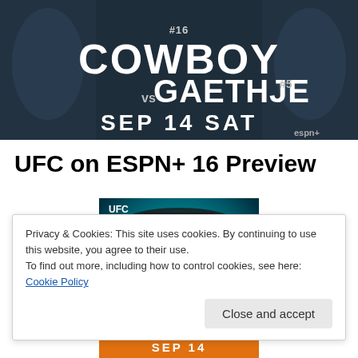[Figure (photo): UFC Fight Night promotional banner showing two fighters facing each other with text 'COWBOY vs GAETHJE #45 SEP 14 SAT' on a dark background]
UFC on ESPN+ 16 Preview
[Figure (photo): UFC Fight Night promo image showing a fighter with a cowboy hat (Donald 'Cowboy' Cerrone) with teal/blue glow lighting and text 'COWBOY' across the bottom]
Privacy & Cookies: This site uses cookies. By continuing to use this website, you agree to their use.
To find out more, including how to control cookies, see here: Cookie Policy
[Figure (photo): Bottom portion of another UFC event promotional image showing 'SEP 14' text on orange background]